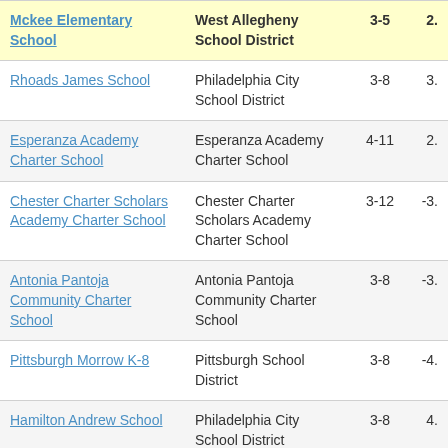| School | District | Grades | Value |
| --- | --- | --- | --- |
| Mckee Elementary School | West Allegheny School District | 3-5 | 2. |
| Rhoads James School | Philadelphia City School District | 3-8 | 3. |
| Esperanza Academy Charter School | Esperanza Academy Charter School | 4-11 | 2. |
| Chester Charter Scholars Academy Charter School | Chester Charter Scholars Academy Charter School | 3-12 | -3. |
| Antonia Pantoja Community Charter School | Antonia Pantoja Community Charter School | 3-8 | -3. |
| Pittsburgh Morrow K-8 | Pittsburgh School District | 3-8 | -4. |
| Hamilton Andrew School | Philadelphia City School District | 3-8 | 4. |